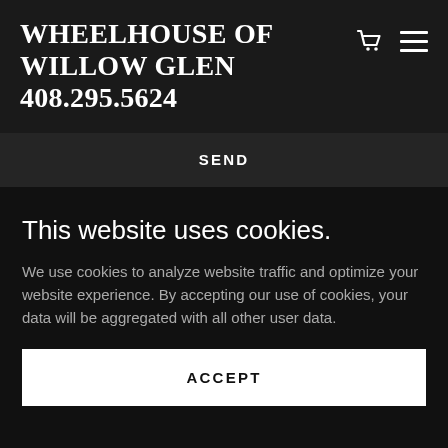WHEELHOUSE OF WILLOW GLEN 408.295.5624
SEND
This website uses cookies.
We use cookies to analyze website traffic and optimize your website experience. By accepting our use of cookies, your data will be aggregated with all other user data.
ACCEPT